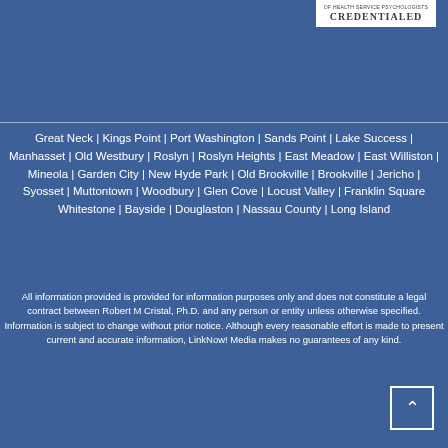[Figure (logo): Health service psychologists credentialed badge/logo — white rectangular badge with text 'OF HEALTH SERVICE PSYCHOLOGISTS' above 'CREDENTIALED' in serif uppercase]
Great Neck | Kings Point | Port Washington | Sands Point | Lake Success | Manhasset | Old Westbury | Roslyn | Roslyn Heights | East Meadow | East Williston | Mineola | Garden City | New Hyde Park | Old Brookville | Brookville | Jericho | Syosset | Muttontown | Woodbury | Glen Cove | Locust Valley | Franklin Square Whitestone | Bayside | Douglaston | Nassau County | Long Island
All information provided is provided for information purposes only and does not constitute a legal contract between Robert M Cristal, Ph.D. and any person or entity unless otherwise specified. Information is subject to change without prior notice. Although every reasonable effort is made to present current and accurate information, LinkNow! Media makes no guarantees of any kind.